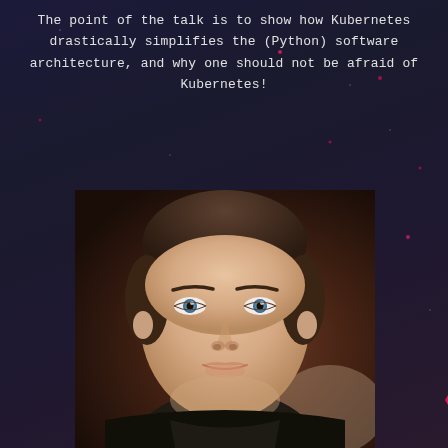The point of the talk is to show how Kubernetes drastically simplifies the (Python) software architecture, and why one should not be afraid of Kubernetes!
[Figure (photo): Portrait photo of a young man with short brown hair and blue eyes, wearing a dark jacket, photographed against a warm brown background]